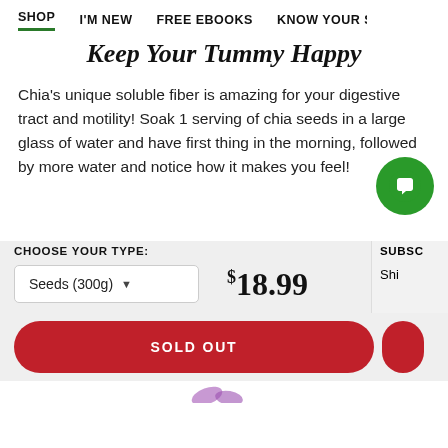SHOP  I'M NEW  FREE EBOOKS  KNOW YOUR SOU...
Keep Your Tummy Happy
Chia's unique soluble fiber is amazing for your digestive tract and motility! Soak 1 serving of chia seeds in a large glass of water and have first thing in the morning, followed by more water and notice how it makes you feel!
CHOOSE YOUR TYPE:
Seeds (300g)  $18.99  Shi...
SOLD OUT